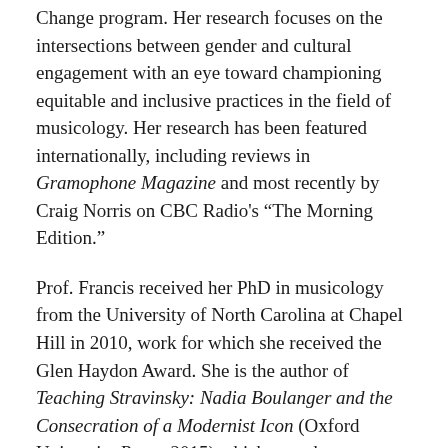Change program. Her research focuses on the intersections between gender and cultural engagement with an eye toward championing equitable and inclusive practices in the field of musicology. Her research has been featured internationally, including reviews in Gramophone Magazine and most recently by Craig Norris on CBC Radio's "The Morning Edition."
Prof. Francis received her PhD in musicology from the University of North Carolina at Chapel Hill in 2010, work for which she received the Glen Haydon Award. She is the author of Teaching Stravinsky: Nadia Boulanger and the Consecration of a Modernist Icon (Oxford University Press, 2015) which won the ASCAP-Deems Taylor/Virgil Thomson Award. She is the editor of Nadia Boulanger and the Stravinskys: A Selected Correspondence (University of Rochester Press, 2018), and co-editor, with Jeanice Brooks, of